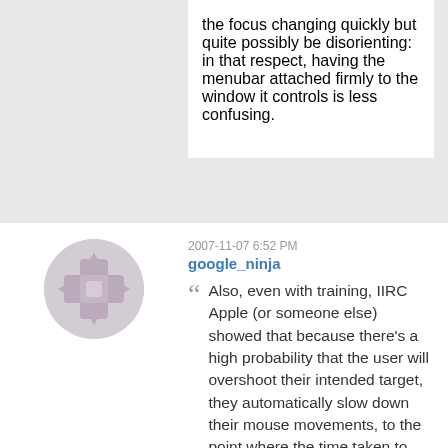the focus changing quickly but quite possibly be disorienting: in that respect, having the menubar attached firmly to the window it controls is less confusing.
2007-11-07 6:52 PM
google_ninja
Also, even with training, IIRC Apple (or someone else) showed that because there's a high probability that the user will overshoot their intended target, they automatically slow down their mouse movements, to the point where the time taken to move the shorter distance (compared to the global